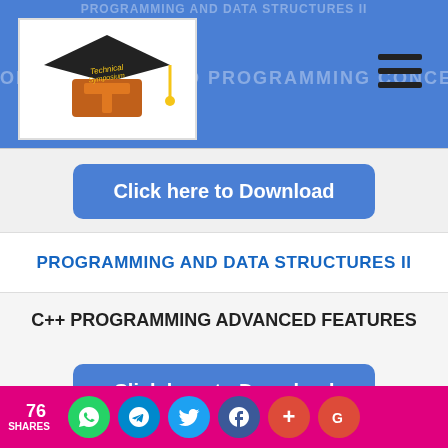[Figure (logo): Technical Symposium logo with mortarboard hat and large T letter]
PROGRAMMING AND DATA STRUCTURES II (watermark in header)
OBJECT ORIENTED PROGRAMMING CONCEPTS (watermark in header)
Click here to Download
PROGRAMMING AND DATA STRUCTURES II
C++ PROGRAMMING ADVANCED FEATURES
Click here to Download
PROGRAMMING AND DATA STRUCTURES II
76 SHARES
[Figure (infographic): Social share buttons: WhatsApp, Telegram, Twitter, Facebook, Plus, Google]